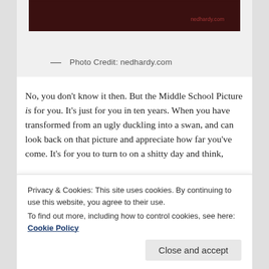[Figure (photo): Dark reddish photo with nedhardy.com watermark, partially visible at top]
— Photo Credit: nedhardy.com
No, you don't know it then. But the Middle School Picture is for you. It's just for you in ten years. When you have transformed from an ugly duckling into a swan, and can look back on that picture and appreciate how far you've come. It's for you to turn to on a shitty day and think,
Privacy & Cookies: This site uses cookies. By continuing to use this website, you agree to their use.
To find out more, including how to control cookies, see here: Cookie Policy
Close and accept